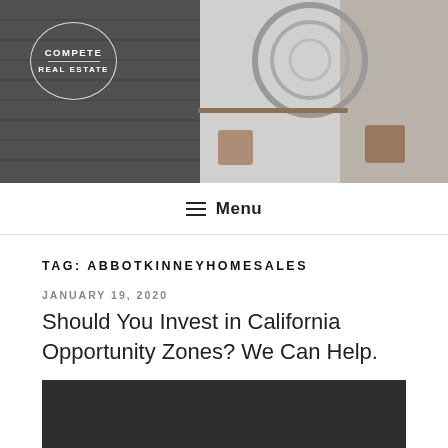[Figure (photo): Header photo of a modern interior with spiral staircase and chairs, Compete Real Estate logo overlaid in white circle on left side]
≡ Menu
TAG: ABBOTKINNEYHOMESALES
JANUARY 19, 2020
Should You Invest in California Opportunity Zones? We Can Help.
[Figure (photo): Dark/black article thumbnail image]